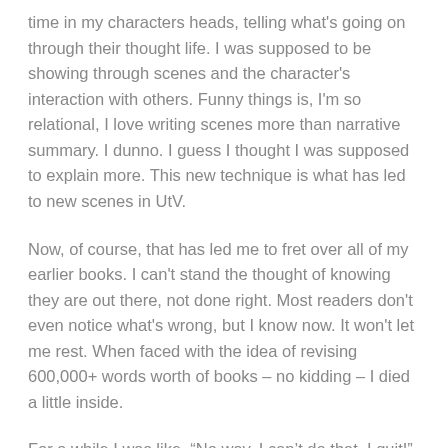time in my characters heads, telling what's going on through their thought life. I was supposed to be showing through scenes and the character's interaction with others. Funny things is, I'm so relational, I love writing scenes more than narrative summary. I dunno. I guess I thought I was supposed to explain more. This new technique is what has led to new scenes in UtV.
Now, of course, that has led me to fret over all of my earlier books. I can't stand the thought of knowing they are out there, not done right. Most readers don't even notice what's wrong, but I know now. It won't let me rest. When faced with the idea of revising 600,000+ words worth of books – no kidding – I died a little inside.
For a while I was like, “No way, I can’t do that. I quit!” But this new me, the one who is ready to persevere (endure) is